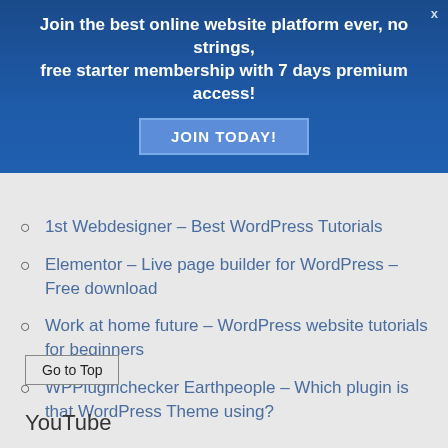[Figure (other): Blue promotional banner with text and JOIN TODAY button]
1st Webdesigner – Best WordPress Tutorials
Elementor – Live page builder for WordPress – Free download
Work at home future – WordPress website tutorials for beginners
WPPluginchecker Earthpeople – Which plugin is that WordPress Theme using?
Go to Top
YouTube